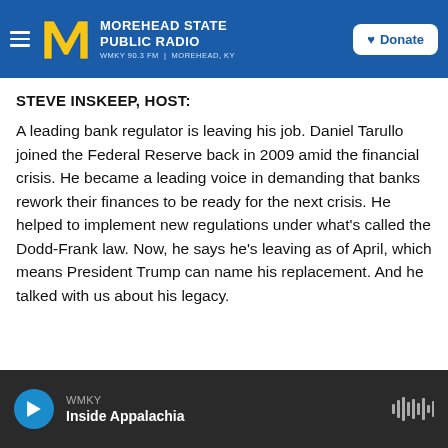MOREHEAD STATE PUBLIC RADIO — WMKY 90.3 FM | MOREHEAD, KY
STEVE INSKEEP, HOST:
A leading bank regulator is leaving his job. Daniel Tarullo joined the Federal Reserve back in 2009 amid the financial crisis. He became a leading voice in demanding that banks rework their finances to be ready for the next crisis. He helped to implement new regulations under what's called the Dodd-Frank law. Now, he says he's leaving as of April, which means President Trump can name his replacement. And he talked with us about his legacy.
WMKY — Inside Appalachia